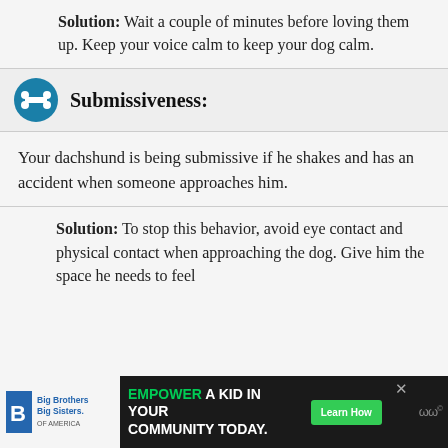Solution: Wait a couple of minutes before loving them up. Keep your voice calm to keep your dog calm.
Submissiveness:
Your dachshund is being submissive if he shakes and has an accident when someone approaches him.
Solution: To stop this behavior, avoid eye contact and physical contact when approaching the dog. Give him the space he needs to feel
[Figure (screenshot): Advertisement banner: Big Brothers Big Sisters logo on left, 'EMPOWER A KID IN YOUR COMMUNITY TODAY.' text in center, 'Learn How' green button, close X button. WM logo on right.]